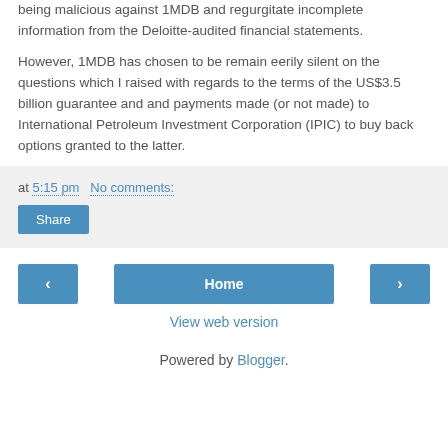being malicious against 1MDB and regurgitate incomplete information from the Deloitte-audited financial statements.
However, 1MDB has chosen to be remain eerily silent on the questions which I raised with regards to the terms of the US$3.5 billion guarantee and and payments made (or not made) to International Petroleum Investment Corporation (IPIC) to buy back options granted to the latter.
at 5:15 pm   No comments:
Share
‹  Home  ›
View web version
Powered by Blogger.